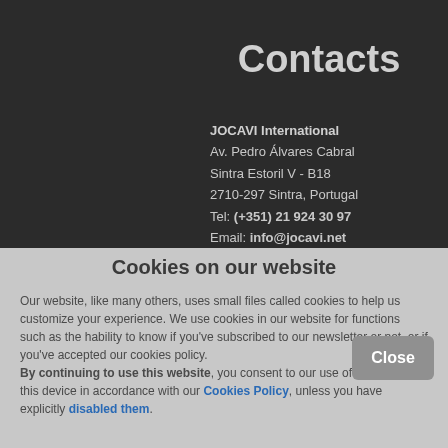Contacts
JOCAVI International
Av. Pedro Álvares Cabral
Sintra Estoril V - B18
2710-297 Sintra, Portugal
Tel: (+351) 21 924 30 97
Email: info@jocavi.net
Cookies on our website
Our website, like many others, uses small files called cookies to help us customize your experience. We use cookies in our website for functions such as the hability to know if you've subscribed to our newsletter or not, or if you've accepted our cookies policy. By continuing to use this website, you consent to our use of cookies on this device in accordance with our Cookies Policy, unless you have explicitly disabled them.